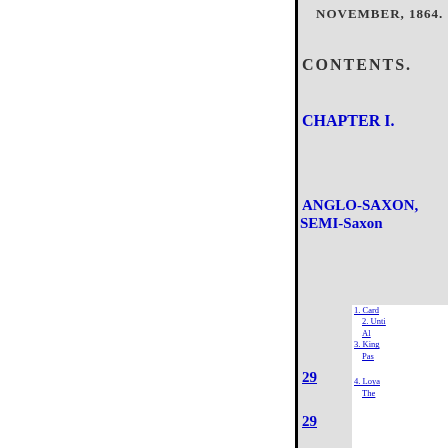NOVEMBER, 1864.
CONTENTS.
CHAPTER I.
ANGLO-SAXON, SEMI-Saxon
1. Card...
2. Unti... Al...
3. King... Pas...
4. Loya... The...
11. The V... 135...
12. John... Ins... Col...
13. Chau... Pro... Tab... The... The... The...
29
29